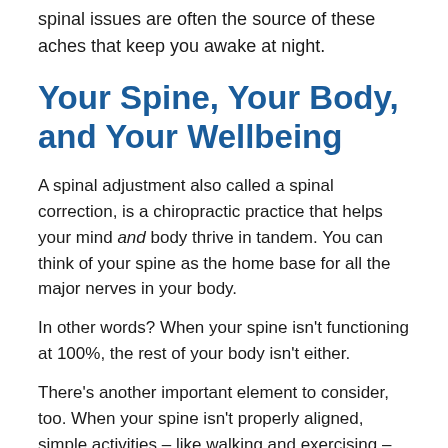spinal issues are often the source of these aches that keep you awake at night.
Your Spine, Your Body, and Your Wellbeing
A spinal adjustment also called a spinal correction, is a chiropractic practice that helps your mind and body thrive in tandem. You can think of your spine as the home base for all the major nerves in your body.
In other words? When your spine isn't functioning at 100%, the rest of your body isn't either.
There's another important element to consider, too. When your spine isn't properly aligned, simple activities – like walking and exercising – can trigger